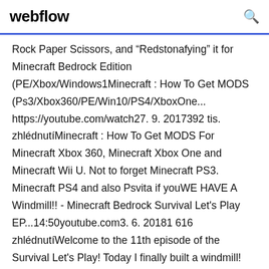webflow
Rock Paper Scissors, and “Redstonafying” it for Minecraft Bedrock Edition (PE/Xbox/Windows1Minecraft : How To Get MODS (Ps3/Xbox360/PE/Win10/PS4/XboxOne... https://youtube.com/watch27. 9. 2017392 tis. zhlédnutíMinecraft : How To Get MODS For Minecraft Xbox 360, Minecraft Xbox One and Minecraft Wii U. Not to forget Minecraft PS3. Minecraft PS4 and also Psvita if youWE HAVE A Windmill!! - Minecraft Bedrock Survival Let's Play EP...14:50youtube.com3. 6. 20181 616 zhlédnutíWelcome to the 11th episode of the Survival Let's Play! Today I finally built a windmill! Let's Play information - Join me as I embark on an adventure to Download Windows